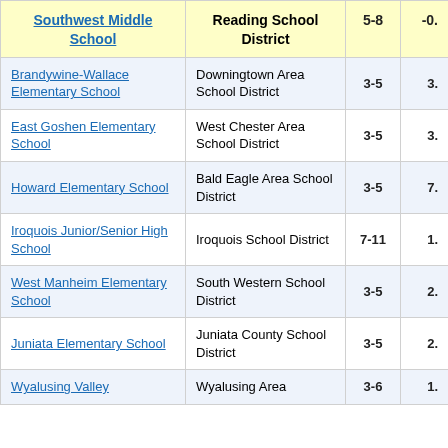| School | District | Grades | Score |
| --- | --- | --- | --- |
| Southwest Middle School | Reading School District | 5-8 | -0. |
| Brandywine-Wallace Elementary School | Downingtown Area School District | 3-5 | 3. |
| East Goshen Elementary School | West Chester Area School District | 3-5 | 3. |
| Howard Elementary School | Bald Eagle Area School District | 3-5 | 7. |
| Iroquois Junior/Senior High School | Iroquois School District | 7-11 | 1. |
| West Manheim Elementary School | South Western School District | 3-5 | 2. |
| Juniata Elementary School | Juniata County School District | 3-5 | 2. |
| Wyalusing Valley | Wyalusng Area | 3-6 | 1. |